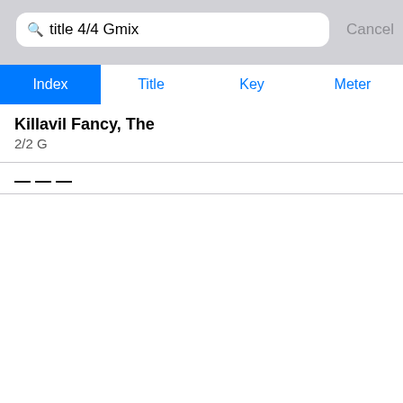[Figure (screenshot): iOS app search interface showing a search bar with query 'title 4/4 Gmix', a Cancel button, and tab navigation with Index (active/highlighted in blue), Title, Key, and Meter tabs. Below is a list showing 'Killavil Fancy, The' with subtitle '2/2 G' and a partially visible second entry.]